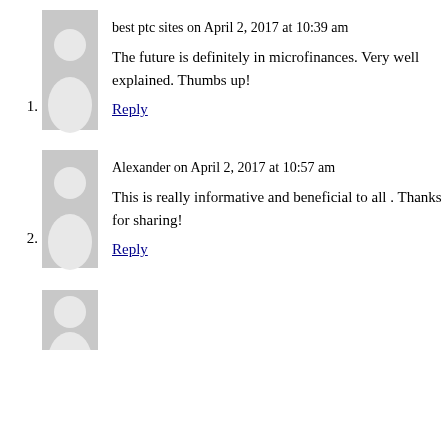[Figure (illustration): Grey placeholder avatar image for comment 1]
best ptc sites on April 2, 2017 at 10:39 am
The future is definitely in microfinances. Very well explained. Thumbs up!
Reply
[Figure (illustration): Grey placeholder avatar image for comment 2]
Alexander on April 2, 2017 at 10:57 am
This is really informative and beneficial to all . Thanks for sharing!
Reply
[Figure (illustration): Grey placeholder avatar image for comment 3 (partially visible)]